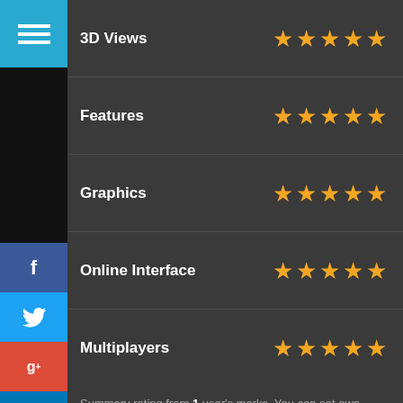[Figure (infographic): Hamburger menu button icon on blue background]
| Category | Rating |
| --- | --- |
| 3D Views | ★★★★★ |
| Features | ★★★★★ |
| Graphics | ★★★★★ |
| Online Interface | ★★★★★ |
| Multiplayers | ★★★★★ |
Summary rating from 1 user's marks. You can set own marks for this article - just click on stars above and press "Accept".
5.0 ★★★★★
HALO 5:GUARDIAN
Halo 5 is a next coming video game, which have been recently been announced, its(the game) next version is expected with arrival name "Guardians".
[Figure (infographic): Social media icons: Facebook, Twitter, Google+, LinkedIn, Pinterest]
[Figure (infographic): Score rating box showing 5.0 with 5 gold stars]